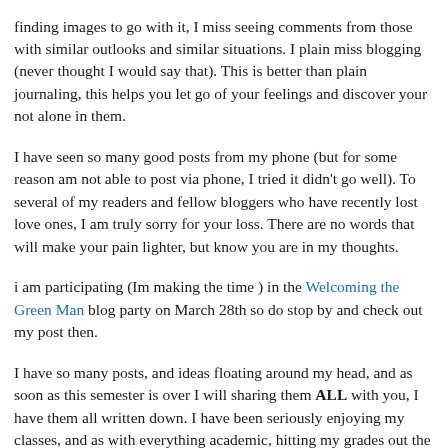finding images to go with it, I miss seeing comments from those with similar outlooks and similar situations. I plain miss blogging (never thought I would say that). This is better than plain journaling, this helps you let go of your feelings and discover your not alone in them.
I have seen so many good posts from my phone (but for some reason am not able to post via phone, I tried it didn't go well). To several of my readers and fellow bloggers who have recently lost love ones, I am truly sorry for your loss. There are no words that will make your pain lighter, but know you are in my thoughts.
i am participating (Im making the time ) in the Welcoming the Green Man blog party on March 28th so do stop by and check out my post then.
I have so many posts, and ideas floating around my head, and as soon as this semester is over I will sharing them ALL with you, I have them all written down. I have been seriously enjoying my classes, and as with everything academic, hitting my grades out the ballpark. So now that I know I'm in